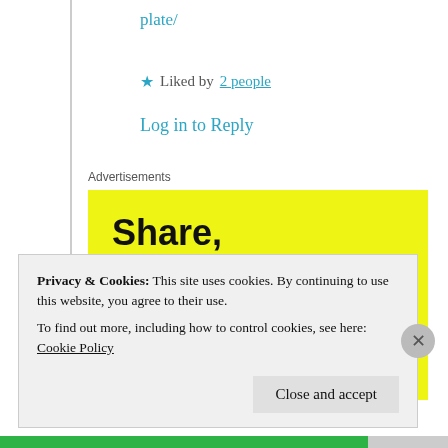plate/
★ Liked by 2 people
Log in to Reply
Advertisements
[Figure (other): Yellow advertisement banner with bold black text reading: Share, Discuss, Collaborate, P2.]
Privacy & Cookies: This site uses cookies. By continuing to use this website, you agree to their use. To find out more, including how to control cookies, see here: Cookie Policy
Close and accept